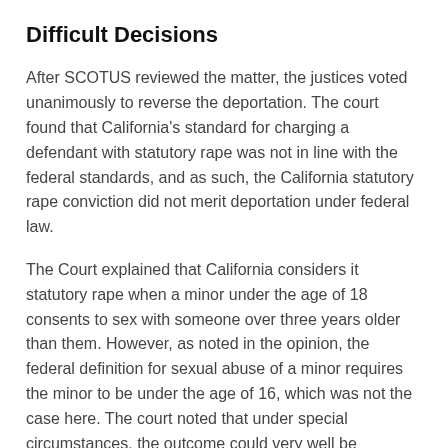Difficult Decisions
After SCOTUS reviewed the matter, the justices voted unanimously to reverse the deportation. The court found that California's standard for charging a defendant with statutory rape was not in line with the federal standards, and as such, the California statutory rape conviction did not merit deportation under federal law.
The Court explained that California considers it statutory rape when a minor under the age of 18 consents to sex with someone over three years older than them. However, as noted in the opinion, the federal definition for sexual abuse of a minor requires the minor to be under the age of 16, which was not the case here. The court noted that under special circumstances, the outcome could very well be different, but noted that those circumstances weren't a factor in this case.